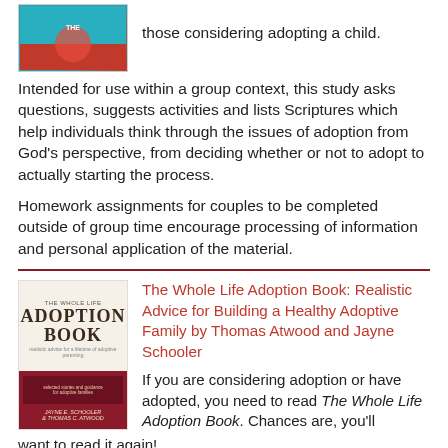[Figure (illustration): Book cover thumbnail at top left, partially visible, showing a teal/blue and red design]
those considering adopting a child.
Intended for use within a group context, this study asks questions, suggests activities and lists Scriptures which help individuals think through the issues of adoption from God's perspective, from deciding whether or not to adopt to actually starting the process.
Homework assignments for couples to be completed outside of group time encourage processing of information and personal application of the material.
[Figure (illustration): Book cover of 'The Whole Life Adoption Book' by Jayne E. Schooler and Thomas C. Atwood, beige top with title text and dark red/maroon bottom section]
The Whole Life Adoption Book: Realistic Advice for Building a Healthy Adoptive Family by Thomas Atwood and Jayne Schooler
If you are considering adoption or have adopted, you need to read The Whole Life Adoption Book. Chances are, you'll want to read it again!